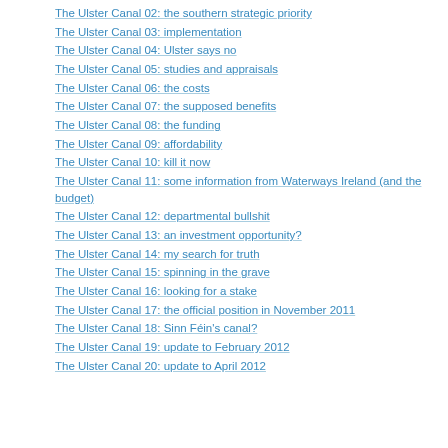The Ulster Canal 02: the southern strategic priority
The Ulster Canal 03: implementation
The Ulster Canal 04: Ulster says no
The Ulster Canal 05: studies and appraisals
The Ulster Canal 06: the costs
The Ulster Canal 07: the supposed benefits
The Ulster Canal 08: the funding
The Ulster Canal 09: affordability
The Ulster Canal 10: kill it now
The Ulster Canal 11: some information from Waterways Ireland (and the budget)
The Ulster Canal 12: departmental bullshit
The Ulster Canal 13: an investment opportunity?
The Ulster Canal 14: my search for truth
The Ulster Canal 15: spinning in the grave
The Ulster Canal 16: looking for a stake
The Ulster Canal 17: the official position in November 2011
The Ulster Canal 18: Sinn Féin's canal?
The Ulster Canal 19: update to February 2012
The Ulster Canal 20: update to April 2012